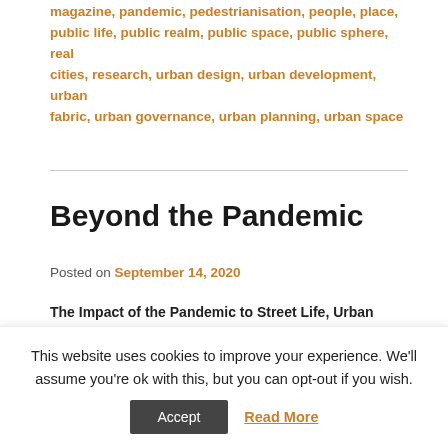magazine, pandemic, pedestrianisation, people, place, public life, public realm, public space, public sphere, real cities, research, urban design, urban development, urban fabric, urban governance, urban planning, urban space
Beyond the Pandemic
Posted on September 14, 2020
The Impact of the Pandemic to Street Life, Urban Culture and Beyond. Maurice Harteveld, co-host and moderator of the roundtable discussion with speakers from the Netherlands, from Greece, from France, and from the United States.
This website uses cookies to improve your experience. We'll assume you're ok with this, but you can opt-out if you wish.